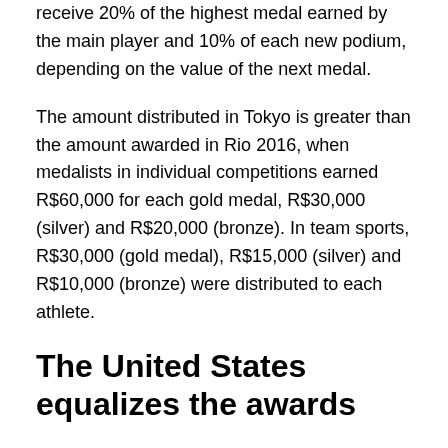receive 20% of the highest medal earned by the main player and 10% of each new podium, depending on the value of the next medal.
The amount distributed in Tokyo is greater than the amount awarded in Rio 2016, when medalists in individual competitions earned R$60,000 for each gold medal, R$30,000 (silver) and R$20,000 (bronze). In team sports, R$30,000 (gold medal), R$15,000 (silver) and R$10,000 (bronze) were distributed to each athlete.
The United States equalizes the awards
This year, the United States announced that athletes in the Paralympic Games for the first time will receive equal pay as Olympic athletes. Prior to this move, Paralympic